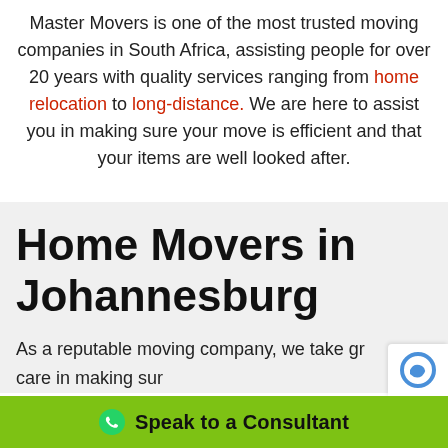Master Movers is one of the most trusted moving companies in South Africa, assisting people for over 20 years with quality services ranging from home relocation to long-distance. We are here to assist you in making sure your move is efficient and that your items are well looked after.
Home Movers in Johannesburg
As a reputable moving company, we take great care in making sur...